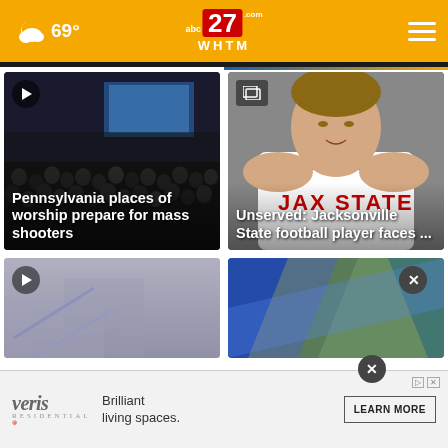abc27 WHTM — 69° weather header with hamburger menu
[Figure (screenshot): Dark auditorium with crowd of people, video thumbnail with play button]
Pennsylvania places of worship prepare for mass shooters
[Figure (photo): Jacksonville State football player in white JAX STATE jersey, gallery icon]
Unserved: Jacksonville State football player faces ...
[Figure (screenshot): Bottom left partial card with play button, purple/white background]
[Figure (screenshot): Bottom right partial card with blue/green colorful background]
veris RESIDENTIAL — Brilliant living spaces. LEARN MORE (advertisement)